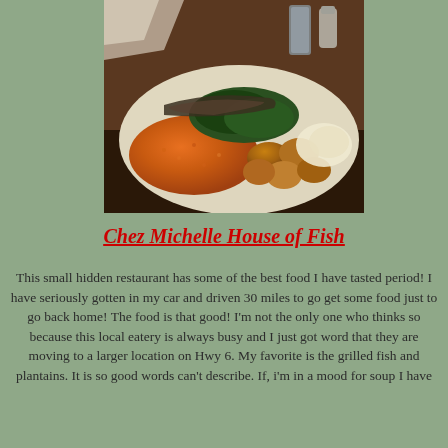[Figure (photo): A plate of food including jollof rice, fried plantains, grilled fish, coleslaw, and greens, served at a restaurant.]
Chez Michelle House of Fish
This small hidden restaurant has some of the best food I have tasted period! I have seriously gotten in my car and driven 30 miles to go get some food just to go back home! The food is that good! I'm not the only one who thinks so because this local eatery is always busy and I just got word that they are moving to a larger location on Hwy 6. My favorite is the grilled fish and plantains. It is so good words can't describe. If, i'm in a mood for soup I have